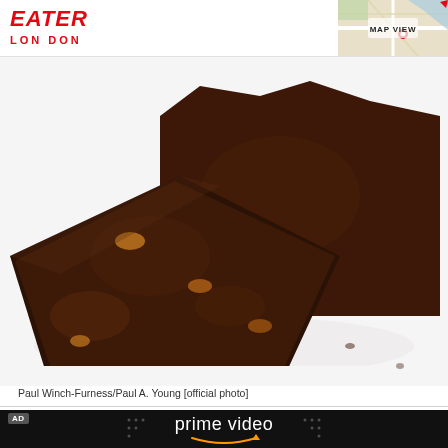EATER LONDON
[Figure (photo): Map view thumbnail in top right corner of the page header]
MAP VIEW
[Figure (photo): Close-up photo of dark chocolate brownies on white background, showing rich fudgy texture with caramel bits]
Paul Winch-Furness/Paul A. Young [official photo]
[Figure (logo): Amazon Prime Video advertisement banner with 'prime video' text and smile/arrow logo on dark background]
[Figure (photo): Partial image of a person or scene below the Prime Video advertisement, very dark, partially visible]